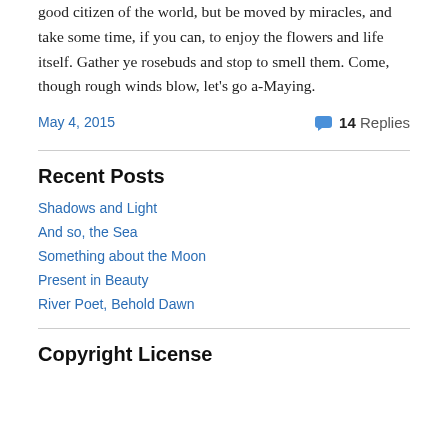good citizen of the world, but be moved by miracles, and take some time, if you can, to enjoy the flowers and life itself. Gather ye rosebuds and stop to smell them. Come, though rough winds blow, let's go a-Maying.
May 4, 2015
💬 14 Replies
Recent Posts
Shadows and Light
And so, the Sea
Something about the Moon
Present in Beauty
River Poet, Behold Dawn
Copyright License